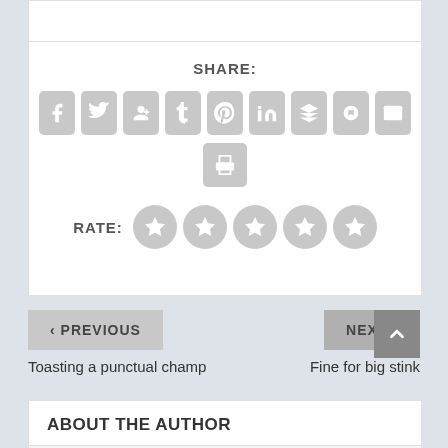SHARE:
[Figure (infographic): Social sharing icons: Facebook, Twitter, Google+, Tumblr, Pinterest, LinkedIn, Buffer, StumbleUpon, Email, Print]
RATE:
[Figure (infographic): Five star rating circles]
< PREVIOUS
NEXT >
Toasting a punctual champ
Fine for big stink
ABOUT THE AUTHOR
admin